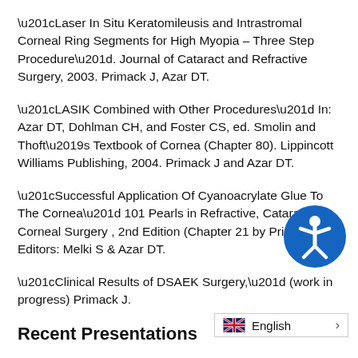“Laser In Situ Keratomileusis and Intrastromal Corneal Ring Segments for High Myopia – Three Step Procedure”. Journal of Cataract and Refractive Surgery, 2003. Primack J, Azar DT.
“LASIK Combined with Other Procedures” In: Azar DT, Dohlman CH, and Foster CS, ed. Smolin and Thoft’s Textbook of Cornea (Chapter 80). Lippincott Williams Publishing, 2004. Primack J and Azar DT.
“Successful Application Of Cyanoacrylate Glue To The Cornea” 101 Pearls in Refractive, Cataract & Corneal Surgery , 2nd Edition (Chapter 21 by Primack). Editors: Melki S & Azar DT.
“Clinical Results of DSAEK Surgery,” (work in progress) Primack J.
Recent Presentations